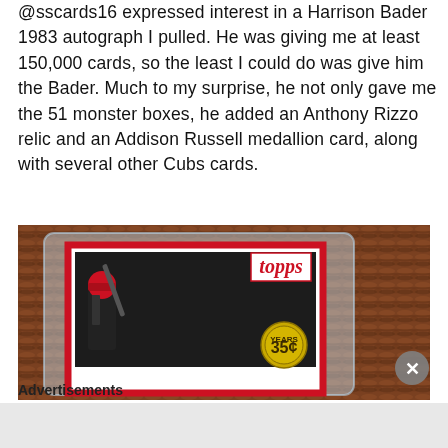@sscards16 expressed interest in a Harrison Bader 1983 autograph I pulled. He was giving me at least 150,000 cards, so the least I could do was give him the Bader. Much to my surprise, he not only gave me the 51 monster boxes, he added an Anthony Rizzo relic and an Addison Russell medallion card, along with several other Cubs cards.
[Figure (photo): A photo of a Topps baseball card (Harrison Bader 1983 autograph) in a clear card holder/slab, sitting on a wicker/rattan surface. The card shows a player in a red helmet with a bat, the Topps logo in red script, and a 35th anniversary gold circular emblem.]
Advertisements